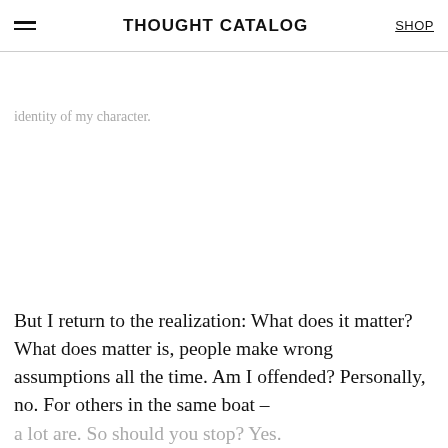THOUGHT CATALOG | SHOP
minimize this sort of uncomfortable stereotyping of my identity.
But I return to the realization: What does it matter? What does matter is, people make wrong assumptions all the time. Am I offended? Personally, no. For others in the same boat – a lot are. So should you stop? Yes.